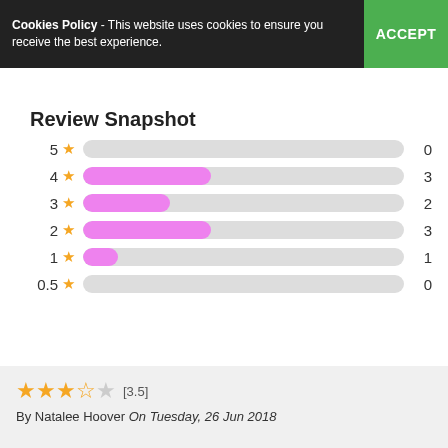Cookies Policy - This website uses cookies to ensure you receive the best experience. ACCEPT
Review Snapshot
[Figure (bar-chart): Review Snapshot]
[3.5] By Natalee Hoover On Tuesday, 26 Jun 2018